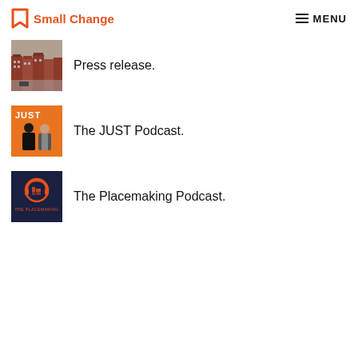Small Change — MENU
Press release.
[Figure (photo): Aerial view of city brownstone row houses]
The JUST Podcast.
[Figure (photo): JUST Podcast cover artwork with two people on orange background]
The Placemaking Podcast.
[Figure (logo): The Placemaking Podcast logo on dark navy background]